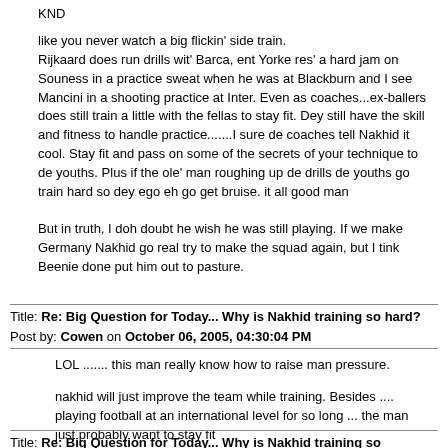KND
like you never watch a big flickin' side train. Rijkaard does run drills wit' Barca, ent Yorke res' a hard jam on Souness in a practice sweat when he was at Blackburn and I see Mancini in a shooting practice at Inter. Even as coaches...ex-ballers does still train a little with the fellas to stay fit. Dey still have the skill and fitness to handle practice.......I sure de coaches tell Nakhid it cool. Stay fit and pass on some of the secrets of your technique to de youths. Plus if the ole' man roughing up de drills de youths go train hard so dey ego eh go get bruise. it all good man
But in truth, I doh doubt he wish he was still playing. If we make Germany Nakhid go real try to make the squad again, but I tink Beenie done put him out to pasture.
Title: Re: Big Question for Today... Why is Nakhid training so hard?
Post by: Cowen on October 06, 2005, 04:30:04 PM
LOL ....... this man really know how to raise man pressure.
nakhid will just improve the team while training. Besides .... playing football at an international level for so long ... the man just probably want to stay fit
Title: Re: Big Question for Today... Why is Nakhid training so